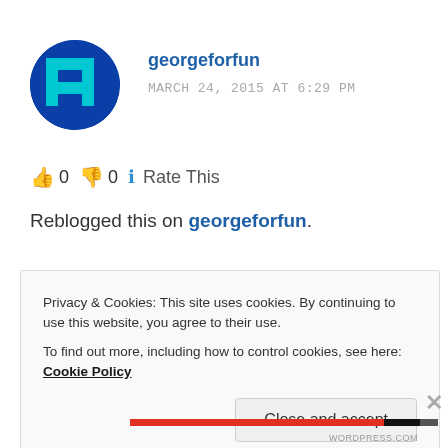[Figure (illustration): Circular avatar with dark blue background and cyan pixel-art letter H design for user georgeforfun]
georgeforfun
MARCH 24, 2015 AT 6:29 PM
👍 0 👎 0 ℹ Rate This
Reblogged this on georgeforfun.
Privacy & Cookies: This site uses cookies. By continuing to use this website, you agree to their use.
To find out more, including how to control cookies, see here: Cookie Policy
Close and accept